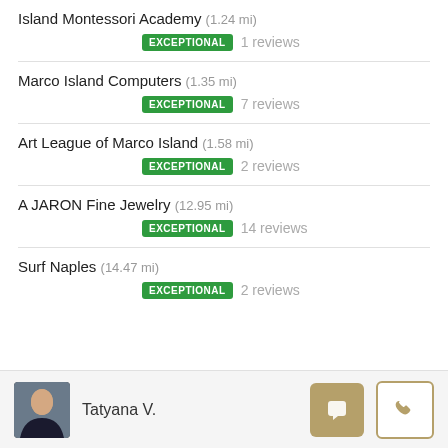Island Montessori Academy (1.24 mi) ★★★★★ EXCEPTIONAL 1 reviews
Marco Island Computers (1.35 mi) ★★★★½ EXCEPTIONAL 7 reviews
Art League of Marco Island (1.58 mi) ★★★★★ EXCEPTIONAL 2 reviews
A JARON Fine Jewelry (12.95 mi) ★★★★★ EXCEPTIONAL 14 reviews
Surf Naples (14.47 mi) ★★★★★ EXCEPTIONAL 2 reviews
Nightlife
Tatyana V.